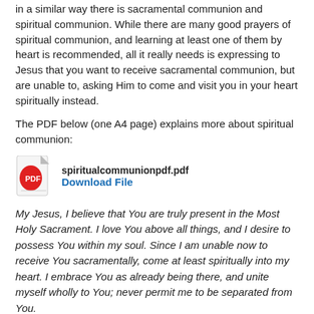in a similar way there is sacramental communion and spiritual communion. While there are many good prayers of spiritual communion, and learning at least one of them by heart is recommended, all it really needs is expressing to Jesus that you want to receive sacramental communion, but are unable to, asking Him to come and visit you in your heart spiritually instead.
The PDF below (one A4 page) explains more about spiritual communion:
[Figure (other): PDF file icon (red Adobe-style icon) with filename spiritualcommunionpdf.pdf and Download File link below]
My Jesus, I believe that You are truly present in the Most Holy Sacrament. I love You above all things, and I desire to possess You within my soul. Since I am unable now to receive You sacramentally, come at least spiritually into my heart. I embrace You as already being there, and unite myself wholly to You; never permit me to be separated from You.
It is also why we were taught that if we find ourselves in danger, a good Act of Contrition is the best thing to do. Again, the Act of Contrition is expressing to God our desire for His pardon and forgiveness, which